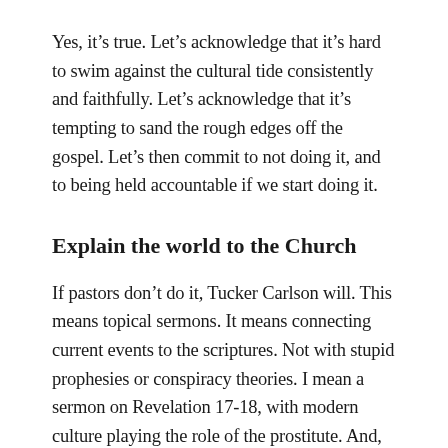Yes, it's true. Let's acknowledge that it's hard to swim against the cultural tide consistently and faithfully. Let's acknowledge that it's tempting to sand the rough edges off the gospel. Let's then commit to not doing it, and to being held accountable if we start doing it.
Explain the world to the Church
If pastors don't do it, Tucker Carlson will. This means topical sermons. It means connecting current events to the scriptures. Not with stupid prophesies or conspiracy theories. I mean a sermon on Revelation 17-18, with modern culture playing the role of the prostitute. And, we all know how that ends (Rev 19:19-21). I mean a sermon about identity, focusing on 1 Peter 2:9-11...